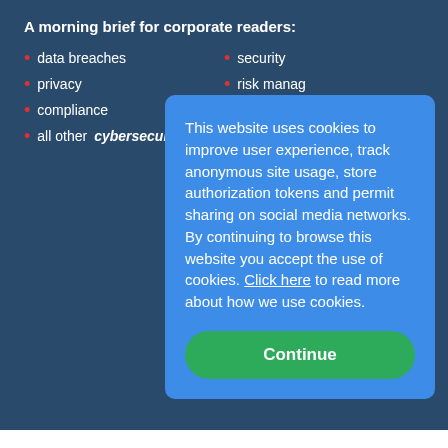A morning brief for corporate readers:
data breaches
security
privacy
risk management
compliance
global regulations
all other cybersecurity matters
Follow Elections & Politics
[Figure (infographic): Social media icons: LinkedIn, Twitter, Facebook, RSS, Email]
WHAT'S YOUR INTEREST?
All Subjects
Administrative Agencies
Agriculture
This website uses cookies to improve user experience, track anonymous site usage, store authorization tokens and permit sharing on social media networks. By continuing to browse this website you accept the use of cookies. Click here to read more about how we use cookies.
Continue